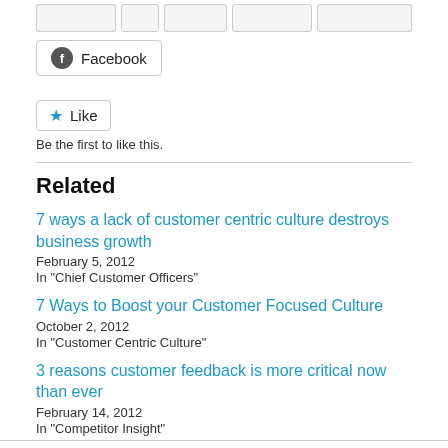[Figure (screenshot): Facebook share button with Facebook icon]
[Figure (screenshot): Like button with star icon and 'Be the first to like this.' text below]
Be the first to like this.
Related
7 ways a lack of customer centric culture destroys business growth
February 5, 2012
In "Chief Customer Officers"
7 Ways to Boost your Customer Focused Culture
October 2, 2012
In "Customer Centric Culture"
3 reasons customer feedback is more critical now than ever
February 14, 2012
In "Competitor Insight"